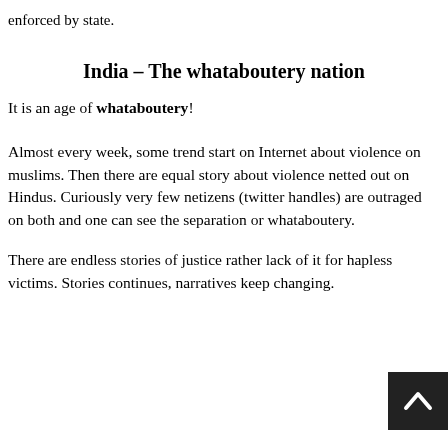enforced by state.
India – The whataboutery nation
It is an age of whataboutery!
Almost every week, some trend start on Internet about violence on muslims. Then there are equal story about violence netted out on Hindus. Curiously very few netizens (twitter handles) are outraged on both and one can see the separation or whataboutery.
There are endless stories of justice rather lack of it for hapless victims. Stories continues, narratives keep changing.